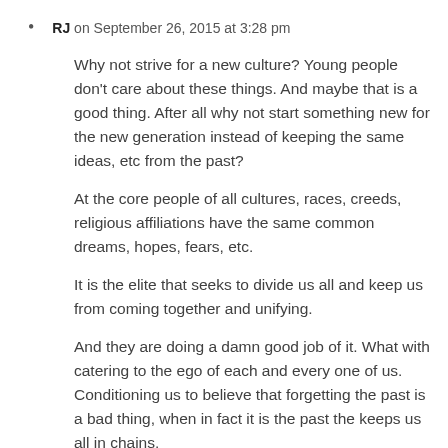RJ on September 26, 2015 at 3:28 pm
Why not strive for a new culture? Young people don’t care about these things. And maybe that is a good thing. After all why not start something new for the new generation instead of keeping the same ideas, etc from the past?
At the core people of all cultures, races, creeds, religious affiliations have the same common dreams, hopes, fears, etc.
It is the elite that seeks to divide us all and keep us from coming together and unifying.
And they are doing a damn good job of it. What with catering to the ego of each and every one of us. Conditioning us to believe that forgetting the past is a bad thing, when in fact it is the past the keeps us all in chains.